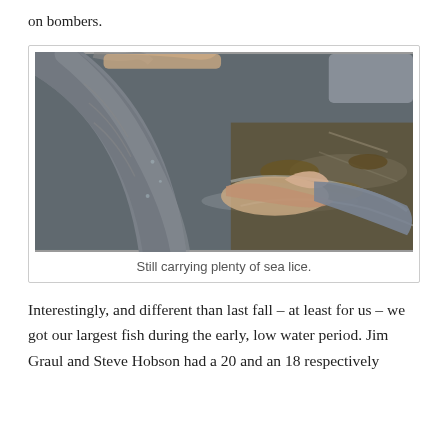on bombers.
[Figure (photo): Close-up photograph of a large fish being held at the water surface, with a person's hand pointing at the fish's side (belly area). The fish has visible scales and appears to be a salmon. The water below is dark and there is seaweed visible. The person is wearing a grey jacket.]
Still carrying plenty of sea lice.
Interestingly, and different than last fall – at least for us – we got our largest fish during the early, low water period. Jim Graul and Steve Hobson had a 20 and an 18 respectively